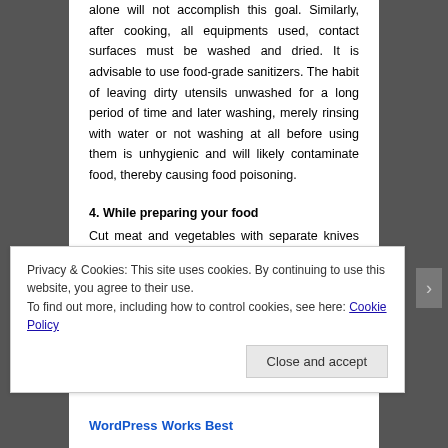alone will not accomplish this goal. Similarly, after cooking, all equipments used, contact surfaces must be washed and dried. It is advisable to use food-grade sanitizers. The habit of leaving dirty utensils unwashed for a long period of time and later washing, merely rinsing with water or not washing at all before using them is unhygienic and will likely contaminate food, thereby causing food poisoning.
4. While preparing your food
Cut meat and vegetables with separate knives and chopping/cutting boards. Soak, scrape, brush, scald, peel or wash all fruit (possibly with vinegar or table salt solution), salad and vegetables. Do not wash raw meat in the sink prior to cooking as this
Privacy & Cookies: This site uses cookies. By continuing to use this website, you agree to their use.
To find out more, including how to control cookies, see here: Cookie Policy
WordPress Works Best